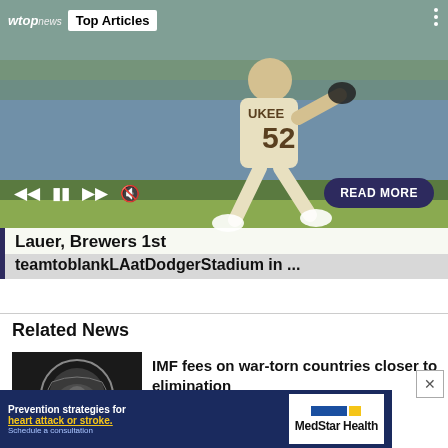[Figure (screenshot): Baseball pitcher wearing jersey number 52 with AUKEE text, pitching in a stadium. WTOP News 'Top Articles' header overlay. Media controls (skip back, pause, skip forward, mute) and READ MORE button overlaid on the image.]
Lauer, Brewers 1st teamtoblankLAatDodgerStadium in ...
Related News
[Figure (photo): IMF coin/medal with globe design, dark background]
IMF fees on war-torn countries closer to elimination
[Figure (other): Advertisement: Prevention strategies for heart attack or stroke. Schedule a consultation. MedStar Health logo.]